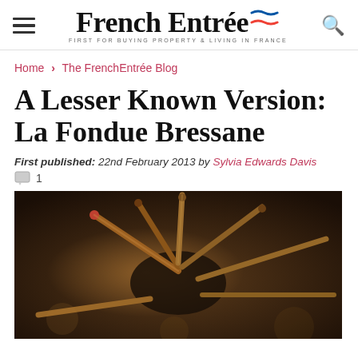French Entrée — FIRST FOR BUYING PROPERTY & LIVING IN FRANCE
Home > The FrenchEntrée Blog
A Lesser Known Version: La Fondue Bressane
First published: 22nd February 2013 by Sylvia Edwards Davis  1
[Figure (photo): Close-up photo of a fondue set showing wooden-handled forks arranged around a dark fondue pot, with a warm shallow depth-of-field bokeh effect]